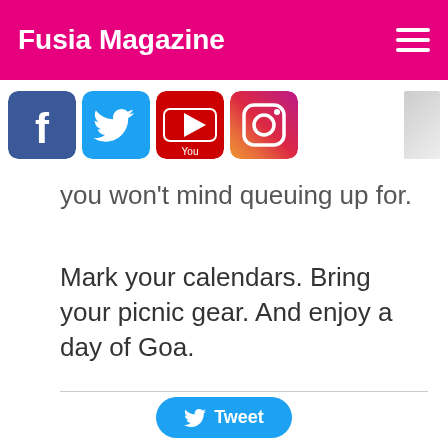Fusia Magazine
[Figure (screenshot): Social media icon bar: Facebook, Twitter, YouTube, Instagram icons in a row, plus a partial image on the right]
you won't mind queuing up for.
Mark your calendars. Bring your picnic gear. And enjoy a day of Goa.